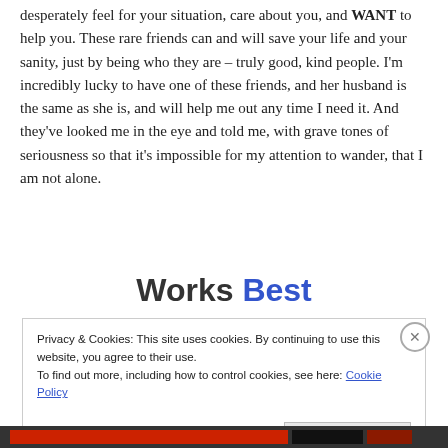desperately feel for your situation, care about you, and WANT to help you. These rare friends can and will save your life and your sanity, just by being who they are – truly good, kind people. I'm incredibly lucky to have one of these friends, and her husband is the same as she is, and will help me out any time I need it. And they've looked me in the eye and told me, with grave tones of seriousness so that it's impossible for my attention to wander, that I am not alone.
Works Best
Privacy & Cookies: This site uses cookies. By continuing to use this website, you agree to their use.
To find out more, including how to control cookies, see here: Cookie Policy
Close and accept